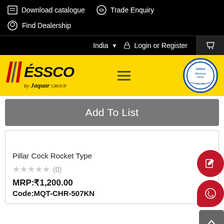Download catalogue   Trade Enquiry
Find Dealership
India   Login or Register
[Figure (logo): ESSCO by Jaguar Group yellow logo bar with hamburger menu and CREDAI Webinstore Partner badge]
Add To List
Pillar Cock Rocket Type
★★★★★ (0)
MRP: ₹1,200.00
Code: MQT-CHR-507KN